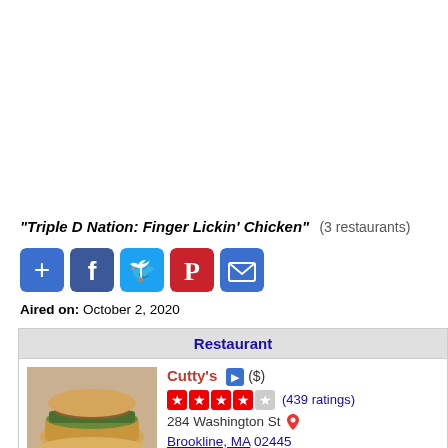"Triple D Nation: Finger Lickin' Chicken" (3 restaurants)
[Figure (other): Social sharing buttons: Add, Facebook, Twitter, Pinterest, Email]
Aired on: October 2, 2020
| Restaurant |
| --- |
| Cutty's ($) (439 ratings) 284 Washington St Brookline, MA 02445 (617) 505-1844 www.cuttyfoods.com |